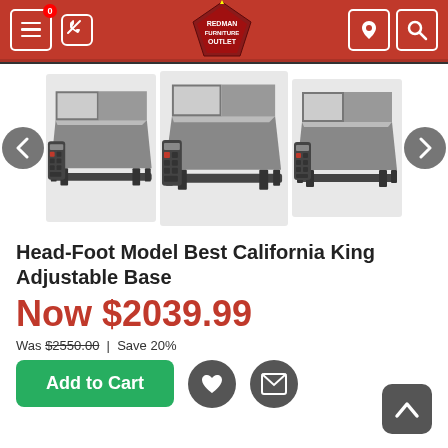[Figure (screenshot): Website header with red background, hamburger menu icon with notification badge, phone icon, Redman Furniture Outlet pentagon logo in center, location pin icon and search icon on right]
[Figure (photo): Product carousel showing three images of the Head-Foot Model Best California King Adjustable Base bed frame with remote controls, with left and right navigation arrows]
Head-Foot Model Best California King Adjustable Base
Now $2039.99
Was $2550.00 | Save 20%
Add to Cart